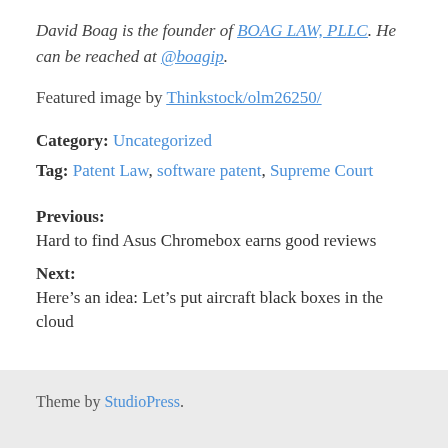David Boag is the founder of BOAG LAW, PLLC. He can be reached at @boagip.
Featured image by Thinkstock/olm26250/
Category: Uncategorized
Tag: Patent Law, software patent, Supreme Court
Previous:
Hard to find Asus Chromebox earns good reviews
Next:
Here’s an idea: Let’s put aircraft black boxes in the cloud
Theme by StudioPress.